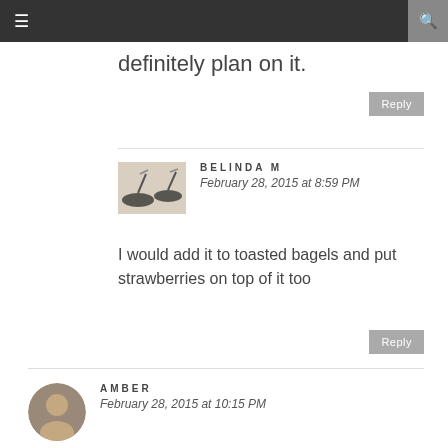≡  🔍
definitely plan on it.
Reply
BELINDA M
February 28, 2015 at 8:59 PM
I would add it to toasted bagels and put strawberries on top of it too
Reply
AMBER
February 28, 2015 at 10:15 PM